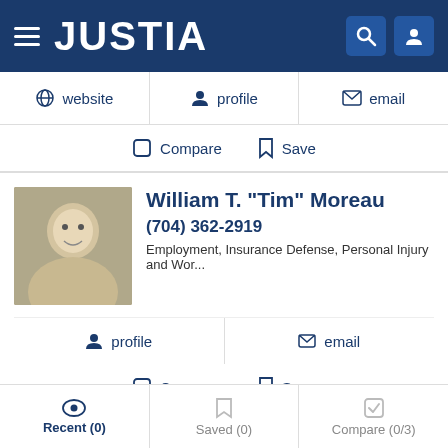JUSTIA
website
profile
email
Compare | Save
William T. "Tim" Moreau
(704) 362-2919
Employment, Insurance Defense, Personal Injury and Wor...
profile | email
Compare | Save
Lance Edmonds
Recent (0) | Saved (0) | Compare (0/3)